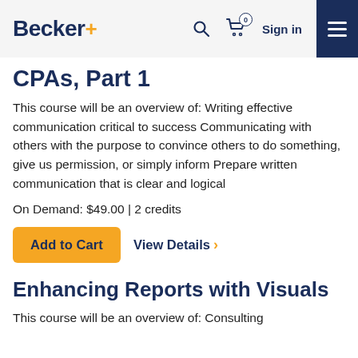Becker+ [Search] [Cart 0] Sign in [Menu]
CPAs, Part 1
This course will be an overview of: Writing effective communication critical to success Communicating with others with the purpose to convince others to do something, give us permission, or simply inform Prepare written communication that is clear and logical
On Demand: $49.00 | 2 credits
Add to Cart   View Details >
Enhancing Reports with Visuals
This course will be an overview of: Consulting